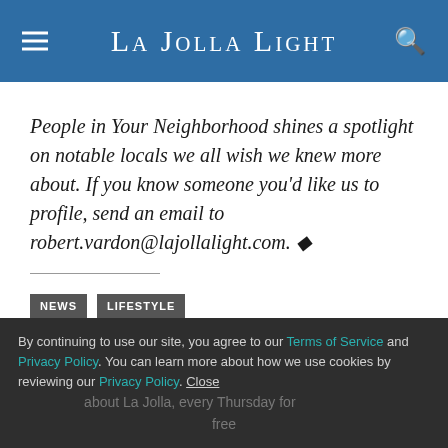La Jolla Light
People in Your Neighborhood shines a spotlight on notable locals we all wish we knew more about. If you know someone you'd like us to profile, send an email to robert.vardon@lajollalight.com. ◆
NEWS
LIFESTYLE
By continuing to use our site, you agree to our Terms of Service and Privacy Policy. You can learn more about how we use cookies by reviewing our Privacy Policy. Close